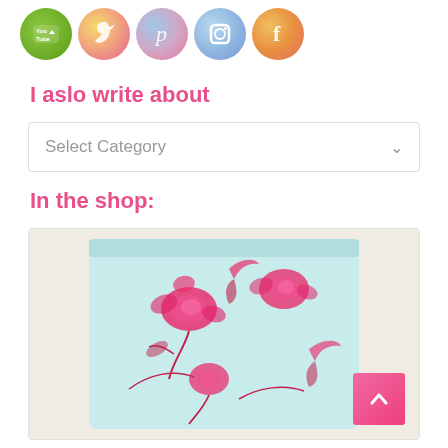[Figure (illustration): Row of five colorful watercolor social media icon circles: YouTube (green), Twitter (yellow-pink), Pinterest (blue-pink), Instagram (blue), Facebook (orange-pink)]
I aslo write about
[Figure (screenshot): A dropdown UI element labeled 'Select Category' with a chevron arrow on the right]
In the shop:
[Figure (photo): A folded piece of light blue fabric with pink floral and bird print pattern, photographed on a beige background. A pink back-to-top button with a caret/arrow is overlaid in the bottom right corner.]